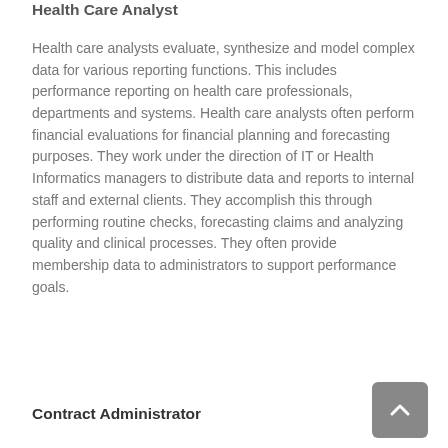Health Care Analyst
Health care analysts evaluate, synthesize and model complex data for various reporting functions. This includes performance reporting on health care professionals, departments and systems. Health care analysts often perform financial evaluations for financial planning and forecasting purposes. They work under the direction of IT or Health Informatics managers to distribute data and reports to internal staff and external clients. They accomplish this through performing routine checks, forecasting claims and analyzing quality and clinical processes. They often provide membership data to administrators to support performance goals.
Contract Administrator